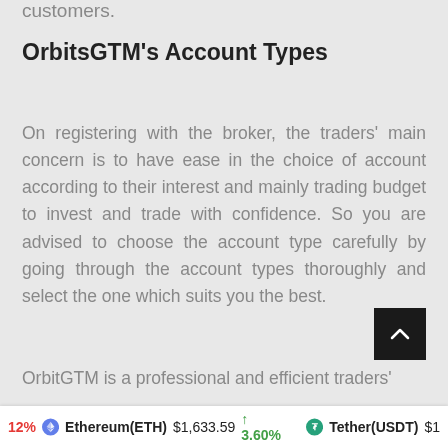customers.
OrbitsGTM's Account Types
On registering with the broker, the traders' main concern is to have ease in the choice of account according to their interest and mainly trading budget to invest and trade with confidence. So you are advised to choose the account type carefully by going through the account types thoroughly and select the one which suits you the best.
OrbitGTM is a professional and efficient traders'
12%  Ethereum(ETH) $1,633.59 ↑ 3.60%  Tether(USDT) $1